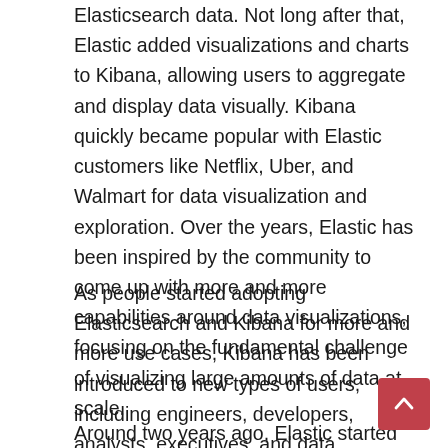Elasticsearch data. Not long after that, Elastic added visualizations and charts to Kibana, allowing users to aggregate and display data visually. Kibana quickly became popular with Elastic customers like Netflix, Uber, and Walmart for data visualization and exploration. Over the years, Elastic has been inspired by the community to come up with more and more capabilities around data visualizations, focusing on the fundamental challenge of visualizing large amounts of data at scale.
As people started adopting Elasticsearch and Kibana for more and more use cases, Kibana has been introduced to new types of users, including engineers, developers, analysts, executives, and data scientists, many of whom are using Kibana on a daily basis. This is Elastic's next area of focus — making Kibana easier to use for a broader audience.
Around two years ago, Elastic started looking into how